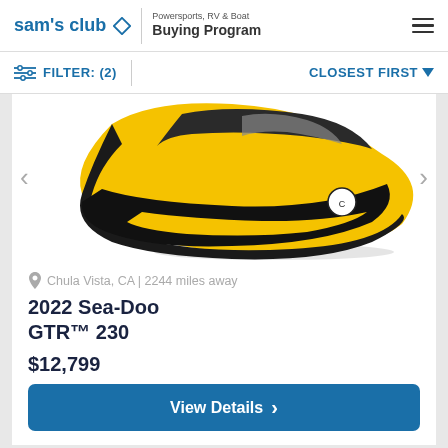sam's club | Powersports, RV & Boat Buying Program
FILTER: (2)   CLOSEST FIRST
[Figure (photo): Yellow and black Sea-Doo personal watercraft (jet ski) shown from above at an angle, partially cropped, with navigation arrows on either side.]
Chula Vista, CA | 2244 miles away
2022 Sea-Doo GTR™ 230
$12,799
View Details >